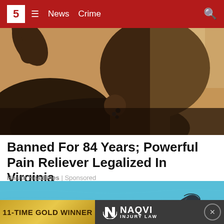5 News | Crime
[Figure (photo): Close-up photo of a Black woman tilting her head back, appearing to take drops or a drink, with earrings visible and warm lighting in the background.]
Banned For 84 Years; Powerful Pain Reliever Legalized In Virginia
Health Headlines | Sponsored
[Figure (photo): Underwater or surface-level ocean photo in blue water showing a dolphin or whale tail fin emerging from the water.]
[Figure (other): Advertisement banner for Naqvi Injury Law reading '11-TIME GOLD WINNER' with Naqvi logo on dark background.]